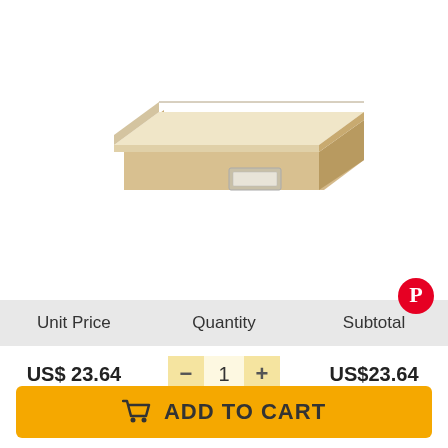[Figure (photo): A rectangular storage box with a cream/beige color and a metal label holder on the front side, shown in a 3D perspective view on a white background.]
| Unit Price | Quantity | Subtotal |
| --- | --- | --- |
| US$ 23.64 | 1 | US$23.64 |